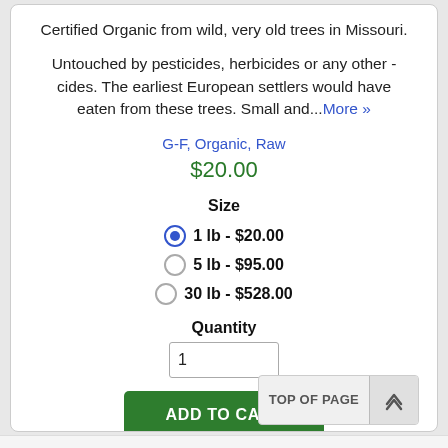Certified Organic from wild, very old trees in Missouri.
Untouched by pesticides, herbicides or any other -cides. The earliest European settlers would have eaten from these trees. Small and...More »
G-F, Organic, Raw
$20.00
Size
1 lb - $20.00
5 lb - $95.00
30 lb - $528.00
Quantity
1
ADD TO CART
TOP OF PAGE